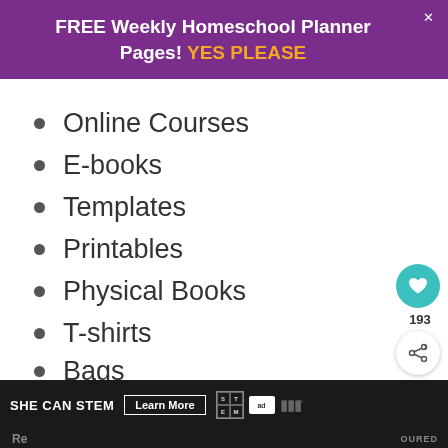FREE Weekly Homeschool Planner Pages! YES PLEASE
Online Courses
E-books
Templates
Printables
Physical Books
T-shirts
Bags
Coffee Mugs
Planners
[Figure (screenshot): Social interaction buttons: heart icon with count 193 and share icon]
[Figure (screenshot): What's Next panel: 9 Flexible Work-at-Ho...]
SHE CAN STEM  Learn More